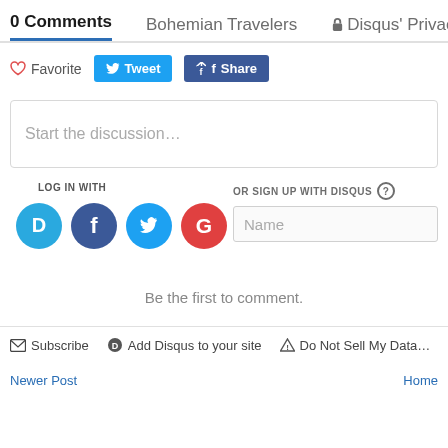0 Comments   Bohemian Travelers   🔒 Disqus' Privacy Po…
♡ Favorite   🐦 Tweet   f Share
Start the discussion…
LOG IN WITH
[Figure (screenshot): Social login icons: Disqus (blue), Facebook (dark blue), Twitter (light blue), Google (red)]
OR SIGN UP WITH DISQUS ?
Name
Be the first to comment.
✉ Subscribe   🔘 Add Disqus to your site   ⚠ Do Not Sell My Data
Newer Post   Home